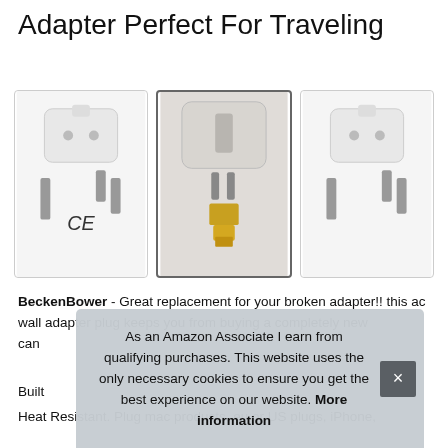Adapter Perfect For Traveling
[Figure (photo): Three product photos of a white UK plug adapter (BeckenBower). Left image shows front view of white adapter with CE marking. Center image shows back/pin detail view. Right image shows another front view.]
BeckenBower - Great replacement for your broken adapter!! this ac wall adapter plug keeps you from buying a completely new... can...
Built...
Heat Resistant. Plug mac products, eu or US plugs, iPhone,
As an Amazon Associate I earn from qualifying purchases. This website uses the only necessary cookies to ensure you get the best experience on our website. More information